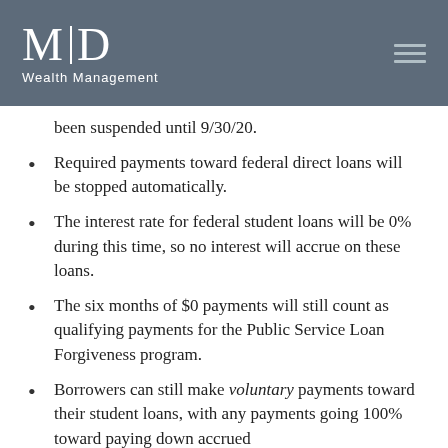MD Wealth Management
been suspended until 9/30/20.
Required payments toward federal direct loans will be stopped automatically.
The interest rate for federal student loans will be 0% during this time, so no interest will accrue on these loans.
The six months of $0 payments will still count as qualifying payments for the Public Service Loan Forgiveness program.
Borrowers can still make voluntary payments toward their student loans, with any payments going 100% toward paying down accrued